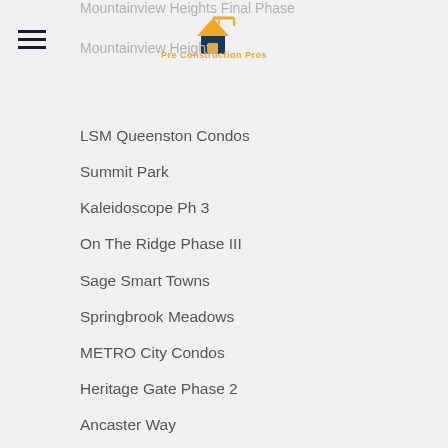Pre Construction Pros
Mountainview Heights Final Phase
Mountainview Heights
LSM Queenston Condos
Summit Park
Kaleidoscope Ph 3
On The Ridge Phase III
Sage Smart Towns
Springbrook Meadows
METRO City Condos
Heritage Gate Phase 2
Ancaster Way
On the Ridge Phase 3
Mount Hope
Connolly Condos
Stonegate Park
5 Hamilton